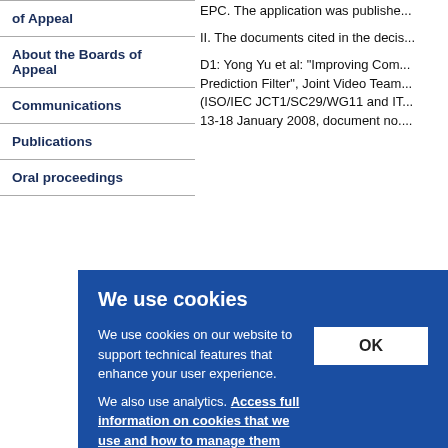of Appeal
About the Boards of Appeal
Communications
Publications
Oral proceedings
EPC. The application was published...
II. The documents cited in the decis...
D1: Yong Yu et al: "Improving Com... Prediction Filter", Joint Video Team... (ISO/IEC JCT1/SC29/WG11 and IT... 13-18 January 2008, document no....
D2: EP 1 841 828 A1
[Figure (screenshot): Cookie consent banner overlay with blue background. Title: 'We use cookies'. Body text: 'We use cookies on our website to support technical features that enhance your user experience. We also use analytics. Access full information on cookies that we use and how to manage them'. OK button on the right.]